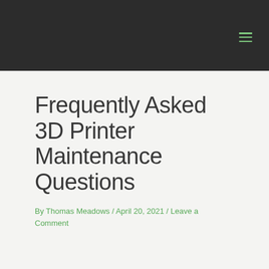Frequently Asked 3D Printer Maintenance Questions
By Thomas Meadows / April 20, 2021 / Leave a Comment